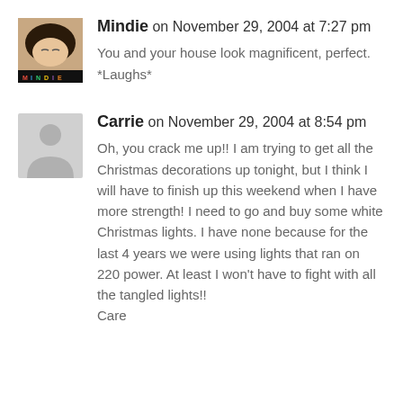Mindie on November 29, 2004 at 7:27 pm
You and your house look magnificent, perfect. *Laughs*
Carrie on November 29, 2004 at 8:54 pm
Oh, you crack me up!! I am trying to get all the Christmas decorations up tonight, but I think I will have to finish up this weekend when I have more strength! I need to go and buy some white Christmas lights. I have none because for the last 4 years we were using lights that ran on 220 power. At least I won't have to fight with all the tangled lights!!
Care